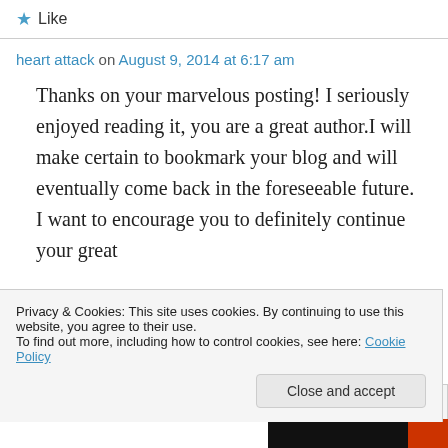★ Like
heart attack on August 9, 2014 at 6:17 am
Thanks on your marvelous posting! I seriously enjoyed reading it, you are a great author.I will make certain to bookmark your blog and will eventually come back in the foreseeable future. I want to encourage you to definitely continue your great
Privacy & Cookies: This site uses cookies. By continuing to use this website, you agree to their use. To find out more, including how to control cookies, see here: Cookie Policy
Close and accept